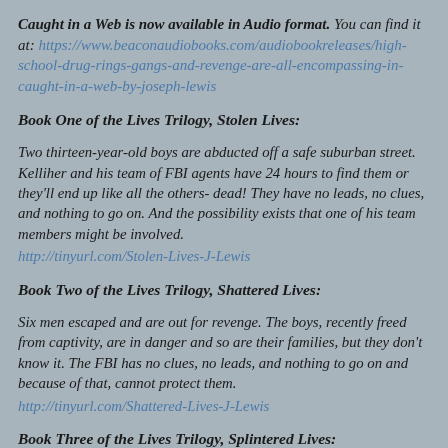Caught in a Web is now available in Audio format. You can find it at: https://www.beaconaudiobooks.com/audiobookreleases/high-school-drug-rings-gangs-and-revenge-are-all-encompassing-in-caught-in-a-web-by-joseph-lewis
Book One of the Lives Trilogy, Stolen Lives:
Two thirteen-year-old boys are abducted off a safe suburban street. Kelliher and his team of FBI agents have 24 hours to find them or they'll end up like all the others- dead! They have no leads, no clues, and nothing to go on. And the possibility exists that one of his team members might be involved.
http://tinyurl.com/Stolen-Lives-J-Lewis
Book Two of the Lives Trilogy, Shattered Lives:
Six men escaped and are out for revenge. The boys, recently freed from captivity, are in danger and so are their families, but they don't know it. The FBI has no clues, no leads, and nothing to go on and because of that, cannot protect them.
http://tinyurl.com/Shattered-Lives-J-Lewis
Book Three of the Lives Trilogy, Splintered Lives:
A 14-year-old boy knows the end is coming. What he doesn't know